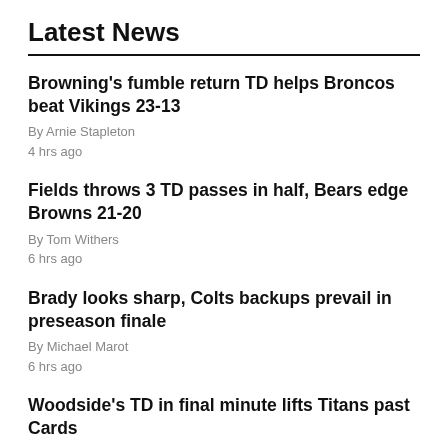Latest News
Browning's fumble return TD helps Broncos beat Vikings 23-13
By Arnie Stapleton
4 hrs ago
Fields throws 3 TD passes in half, Bears edge Browns 21-20
By Tom Withers
6 hrs ago
Brady looks sharp, Colts backups prevail in preseason finale
By Michael Marot
6 hrs ago
Woodside's TD in final minute lifts Titans past Cards